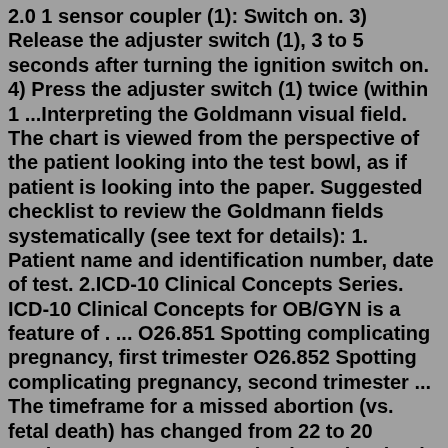2.0 1 sensor coupler (1): Switch on. 3) Release the adjuster switch (1), 3 to 5 seconds after turning the ignition switch on. 4) Press the adjuster switch (1) twice (within 1 ...Interpreting the Goldmann visual field. The chart is viewed from the perspective of the patient looking into the test bowl, as if patient is looking into the paper. Suggested checklist to review the Goldmann fields systematically (see text for details): 1. Patient name and identification number, date of test. 2.ICD-10 Clinical Concepts Series. ICD-10 Clinical Concepts for OB/GYN is a feature of . ... O26.851 Spotting complicating pregnancy, first trimester O26.852 Spotting complicating pregnancy, second trimester ... The timeframe for a missed abortion (vs. fetal death) has changed from 22 to 20 weeks. In ICD-10-CM, an elective . abortion is now ...Advance your research and join a community of 20 million scientists.Mark Spots an Atlas in "The Rockford Files". Many thanks to SWLing Post contributor, Mark Hirst, who writes: I spotted this radio from an episode of the Rockford Files in a story